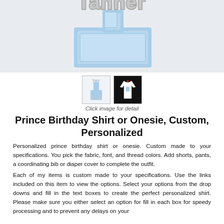[Figure (photo): Close-up photo of a baby/toddler birthday shirt showing a blue fabric number '1' applique with crown, and the name 'Tanner' embroidered in gray thread above it, on a white background.]
[Figure (photo): Small thumbnail of the birthday shirt front view showing name and number 1 applique on white background.]
[Figure (photo): Small thumbnail of a white long-sleeve onesie/shirt on black background showing the prince birthday design.]
Click image for detail
Prince Birthday Shirt or Onesie, Custom, Personalized
Personalized prince birthday shirt or onesie. Custom made to your specifications. You pick the fabric, font, and thread colors. Add shorts, pants, a coordinating bib or diaper cover to complete the outfit.
Each of my items is custom made to your specifications. Use the links included on this item to view the options. Select your options from the drop downs and fill in the text boxes to create the perfect personalized shirt. Please make sure you either select an option for fill in each box for speedy processing and to prevent any delays on your